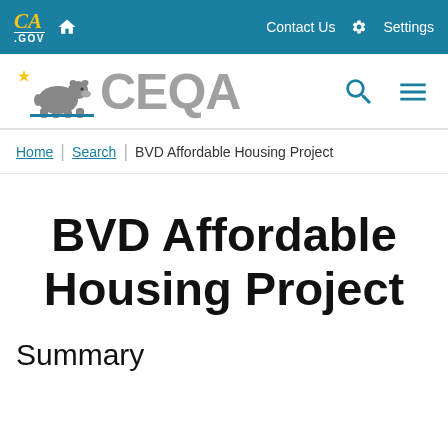CA.GOV  Home  Contact Us  Settings
[Figure (logo): CEQA California state portal logo with California bear and star]
Home | Search | BVD Affordable Housing Project
BVD Affordable Housing Project
Summary